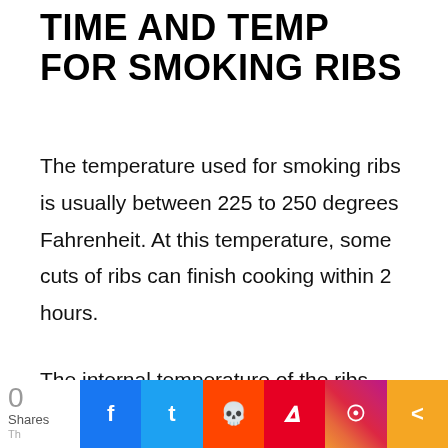TIME AND TEMP FOR SMOKING RIBS
The temperature used for smoking ribs is usually between 225 to 250 degrees Fahrenheit. At this temperature, some cuts of ribs can finish cooking within 2 hours.
The internal temperature of the ribs should be around 180 to 200 degrees Fahrenheit when using a meat probe.
[Figure (infographic): Social sharing bar at the bottom showing share count of 0 Shares, followed by buttons for Facebook (blue), Twitter (light blue), Reddit (orange-red), Pinterest (red), Instagram (gradient purple-orange), and a share button (orange)]